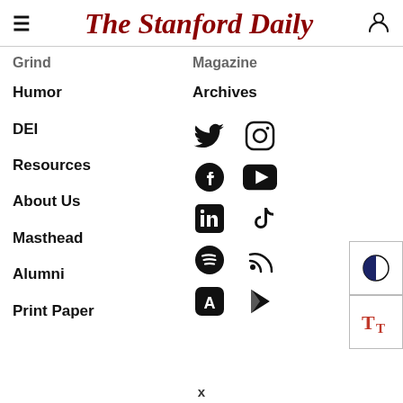The Stanford Daily
Grind
Magazine
Humor
Archives
DEI
Resources
About Us
Masthead
Alumni
Print Paper
[Figure (screenshot): Social media icons: Twitter/X, Instagram, Facebook, YouTube, LinkedIn, TikTok, Spotify, RSS, App Store, Google Play]
[Figure (other): Control panel with contrast toggle and font size buttons]